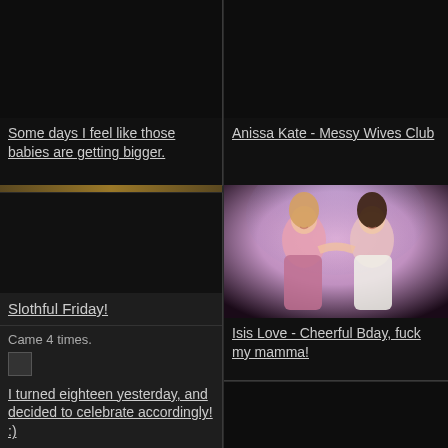[Figure (photo): Dark/black thumbnail image, top-left cell]
Some days I feel like those babies are getting bigger.
[Figure (photo): Dark/black thumbnail image, top-right cell]
Anissa Kate - Messy Wives Club
[Figure (photo): Dark thumbnail, mid-left cell]
Slothful Friday!
Came 4 times.
[Figure (photo): Broken/small image icon]
I turned eighteen yesterday, and decided to celebrate accordingly! :)
[Figure (photo): Photo of two women at a fountain, one in pink dress and one in white, smiling and touching each other's faces]
Isis Love - Cheerful Bday, fuck my mamma!
[Figure (photo): Dark thumbnail image, bottom-right cell]
Showing off a little for u to keep u going this Tuesday